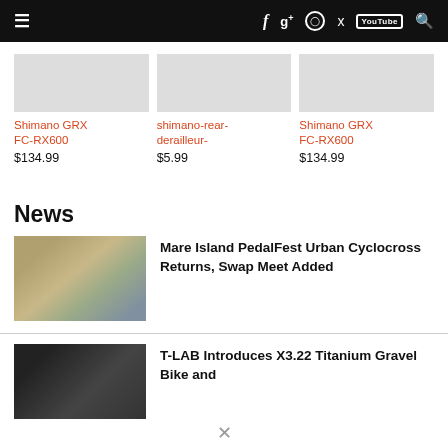Navigation bar with hamburger menu, social icons (Facebook, Google+, Instagram, Twitter, YouTube), and search
Shimano GRX FC-RX600
$134.99
shimano-rear-derailleur-
$5.99
Shimano GRX FC-RX600
$134.99
News
[Figure (photo): Cyclists riding in a cyclocross race through muddy terrain with colourful tents in background]
Mare Island PedalFest Urban Cyclocross Returns, Swap Meet Added
[Figure (photo): Dark close-up photo of a titanium gravel bike frame component]
T-LAB Introduces X3.22 Titanium Gravel Bike and